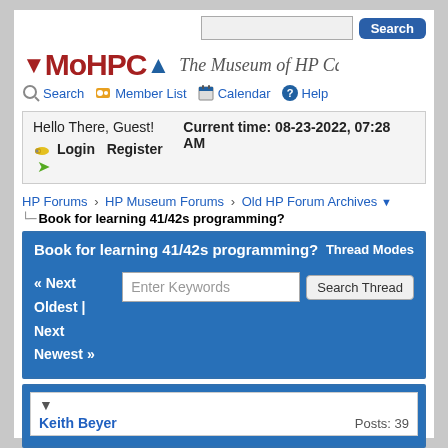Search [search button]
[Figure (logo): MoHPCA logo with red and blue arrows and text 'The Museum of HP Calcu...']
Search | Member List | Calendar | Help
Hello There, Guest!   Current time: 08-23-2022, 07:28 AM
Login  Register
HP Forums › HP Museum Forums › Old HP Forum Archives ▼
└─ Book for learning 41/42s programming?
Book for learning 41/42s programming?   Thread Modes
« Next Oldest | Next Newest »   [Enter Keywords] [Search Thread]
▼  Keith Beyer   Posts: 39